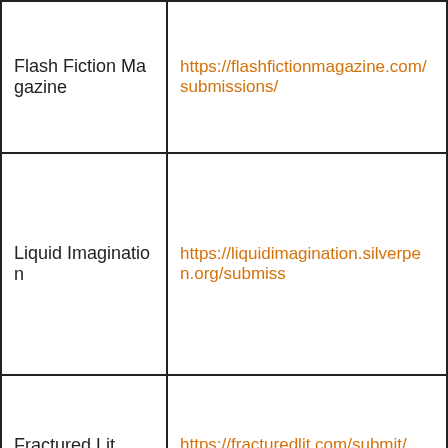| Publication | URL |
| --- | --- |
| Flash Fiction Magazine | https://flashfictionmagazine.com/submissions/ |
| Liquid Imagination | https://liquidimagination.silverpen.org/submiss... |
| Fractured Lit | https://fracturedlit.com/submit/ |